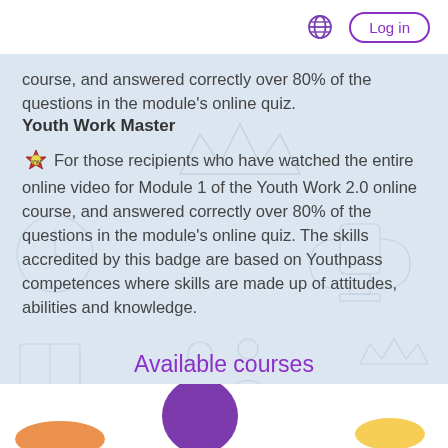Log in
course, and answered correctly over 80% of the questions in the module's online quiz.
Youth Work Master
For those recipients who have watched the entire online video for Module 1 of the Youth Work 2.0 online course, and answered correctly over 80% of the questions in the module's online quiz. The skills accredited by this badge are based on Youthpass competences where skills are made up of attitudes, abilities and knowledge.
Available courses
[Figure (illustration): Bottom strip showing partially visible course card image with purple circular element and colorful decorative elements on white background]